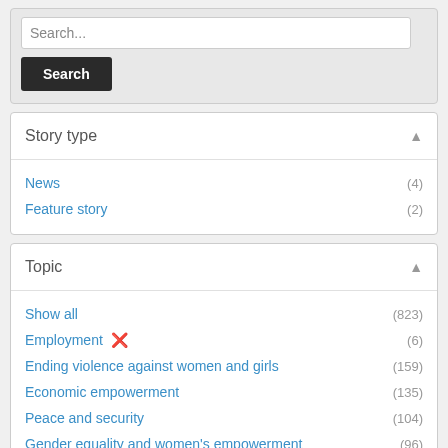Search...
Search
Story type
News (4)
Feature story (2)
Topic
Show all (823)
Employment ✗ (6)
Ending violence against women and girls (159)
Economic empowerment (135)
Peace and security (104)
Gender equality and women's empowerment (96)
Governance and national planning (48)